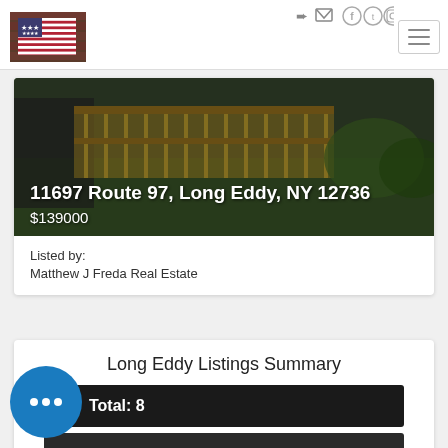[Figure (logo): American flag logo image in header]
[Figure (photo): Exterior photo of property at 11697 Route 97, Long Eddy, NY showing wooden deck/railing, green yard]
11697 Route 97, Long Eddy, NY 12736
$139000
Listed by:
Matthew J Freda Real Estate
Long Eddy Listings Summary
Total: 8